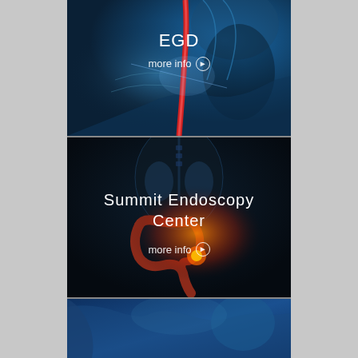[Figure (illustration): Medical illustration panel 1: X-ray style image of human upper torso and neck with a red highlighted tube/scope inserted down the throat on a dark blue background. Text overlay: 'EGD' with 'more info' link.]
[Figure (illustration): Medical illustration panel 2: Dark X-ray style image of human abdominal/intestinal anatomy with red and orange highlighted colon/intestine area. Text overlay: 'Summit Endoscopy Center' with 'more info' link.]
[Figure (illustration): Medical illustration panel 3 (partial): Blue-toned X-ray style image of human body side profile showing torso and shoulder area, partially visible at bottom of page.]